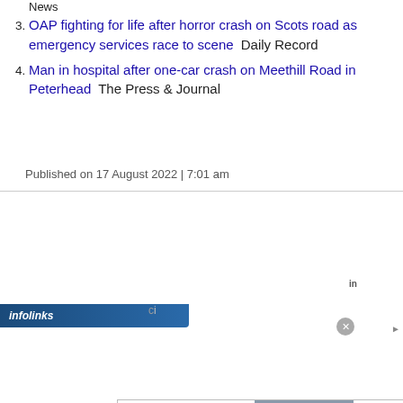News
3. OAP fighting for life after horror crash on Scots road as emergency services race to scene  Daily Record
4. Man in hospital after one-car crash on Meethill Road in Peterhead  The Press & Journal
Published on 17 August 2022 | 7:01 am
[Figure (other): Bloomingdales advertisement banner: logo, 'View Today's Top Deals!', woman with hat, 'SHOP NOW >' button]
[Figure (other): Infolinks ad bar with prostate treatment ad: '#1 Natural Prostate Treatment', 'Top Urologist: Enlarged Prostate? Do This Immediately!', healthreport4u.com, anatomical image, arrow button]